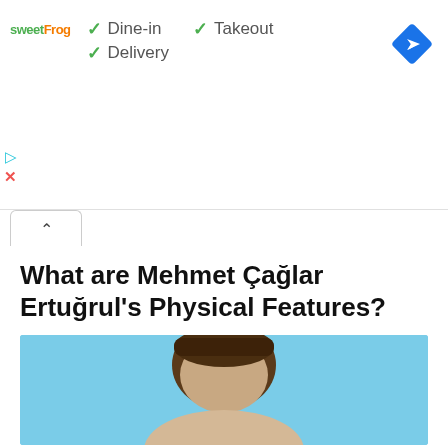[Figure (screenshot): Ad banner for sweetFrog restaurant showing Dine-in, Takeout, and Delivery options with green checkmarks, plus a blue navigation arrow icon on the right.]
What are Mehmet Çağlar Ertuğrul's Physical Features?
[Figure (photo): Photo of Mehmet Çağlar Ertuğrul, a man with dark hair, against a light blue background, cropped at the top of the page.]